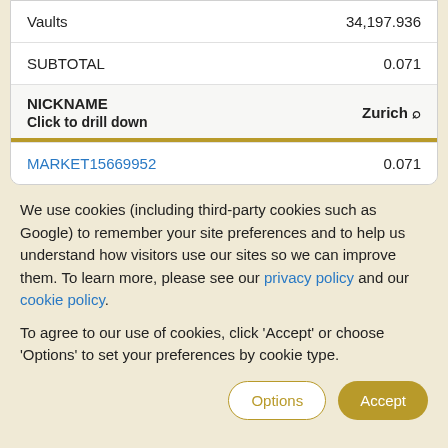| Item | Value |
| --- | --- |
| Vaults | 34,197.936 |
| SUBTOTAL | 0.071 |
| NICKNAME / Click to drill down | Zurich |
| MARKET15669952 | 0.071 |
We use cookies (including third-party cookies such as Google) to remember your site preferences and to help us understand how visitors use our sites so we can improve them. To learn more, please see our privacy policy and our cookie policy.
To agree to our use of cookies, click 'Accept' or choose 'Options' to set your preferences by cookie type.